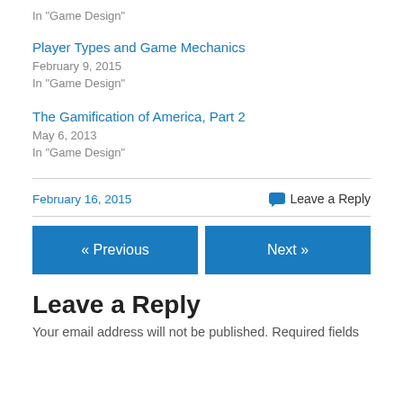In "Game Design"
Player Types and Game Mechanics
February 9, 2015
In "Game Design"
The Gamification of America, Part 2
May 6, 2013
In "Game Design"
February 16, 2015
Leave a Reply
« Previous
Next »
Leave a Reply
Your email address will not be published. Required fields